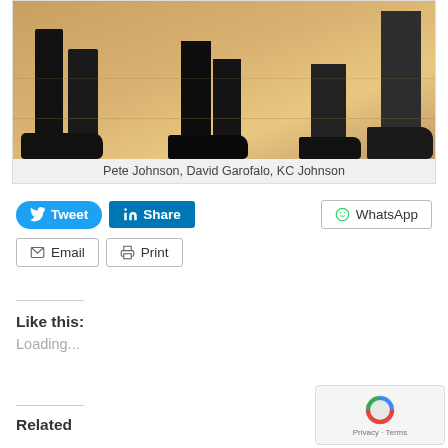[Figure (photo): Cropped photo showing the lower legs and feet of three people standing on a wooden floor, wearing dark pants and dark shoes/sneakers.]
Pete Johnson, David Garofalo, KC Johnson
Tweet  Share  WhatsApp  Email  Print
Like this:
Loading...
Related